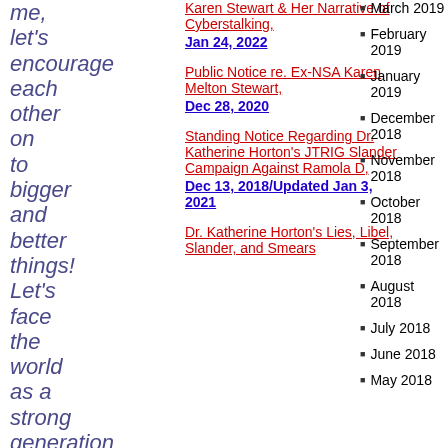me, let's encourage each other on to bigger and better things! Let's face the world as a strong generation
Karen Stewart & Her Narrative of Cyberstalking, Jan 24, 2022
Public Notice re. Ex-NSA Karen Melton Stewart, Dec 28, 2020
Standing Notice Regarding Dr. Katherine Horton's JTRIG Slander Campaign Against Ramola D, Dec 13, 2018/Updated Jan 3, 2021
Dr. Katherine Horton's Lies, Libel, Slander, and Smears
March 2019
February 2019
January 2019
December 2018
November 2018
October 2018
September 2018
August 2018
July 2018
June 2018
May 2018